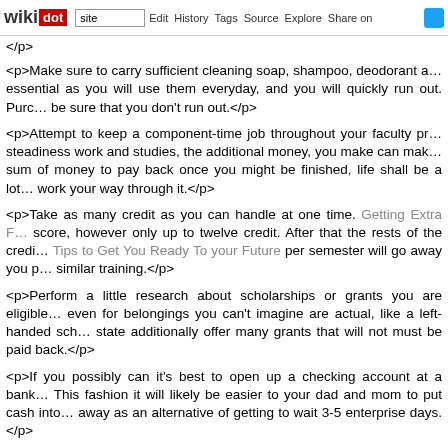wikidot | site | Edit | History | Tags | Source | Explore | Share on Twitter
</p>
<p>Make sure to carry sufficient cleaning soap, shampoo, deodorant a… essential as you will use them everyday, and you will quickly run out. Purc… be sure that you don't run out.</p>
<p>Attempt to keep a component-time job throughout your faculty pr… steadiness work and studies, the additional money, you make can mak… sum of money to pay back once you might be finished, life shall be a lot… work your way through it.</p>
<p>Take as many credit as you can handle at one time. Getting Extra F… score, however only up to twelve credit. After that the rests of the credi… Tips to Get You Ready To your Future per semester will go away you p… similar training.</p>
<p>Perform a little research about scholarships or grants you are eligible… even for belongings you can't imagine are actual, like a left-handed sch… state additionally offer many grants that will not must be paid back.</p>
<p>If you possibly can it's best to open up a checking account at a bank… This fashion it will likely be easier to your dad and mom to put cash into… away as an alternative of getting to wait 3-5 enterprise days.</p>
[Figure (other): Broken image placeholder: 20150519_555b9f3c1ae7f.jpg]
<p>After All The latest News On College Success Is Ready Proper He… possible for you don't leave without getting the free checks that almos… extras. You could also be shocked at how few checks you will use over… easy enough to get extra if you happen to want them, but you don't need…